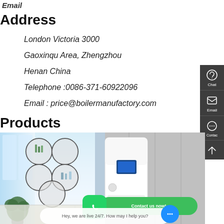Email
Address
London Victoria 3000
Gaoxinqu Area, Zhengzhou
Henan China
Telephone :0086-371-60922096
Email : price@boilermanufactory.com
Products
[Figure (photo): Product image showing a white wall-mounted boiler/heating unit in a modern interior setting with circular shelf decorations and a plant. Overlaid with WhatsApp contact button and 'Contact us now!' chat bubble, plus a 'Hey, we are live 24/7. How may I help you?' live chat bar at the bottom.]